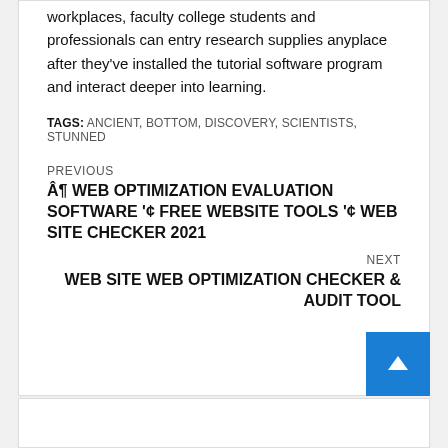workplaces, faculty college students and professionals can entry research supplies anyplace after they've installed the tutorial software program and interact deeper into learning.
TAGS: ANCIENT, BOTTOM, DISCOVERY, SCIENTISTS, STUNNED
PREVIOUS
Â¶ WEB OPTIMIZATION EVALUATION SOFTWARE '¢ FREE WEBSITE TOOLS '¢ WEB SITE CHECKER 2021
NEXT
WEB SITE WEB OPTIMIZATION CHECKER & AUDIT TOOL